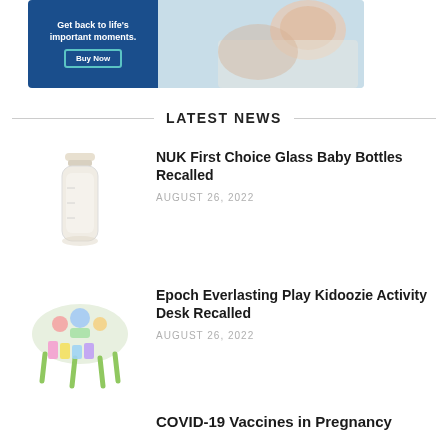[Figure (photo): Advertisement banner with blue background on left showing 'Get back to life's important moments.' text and 'Buy Now' button, and a photo of a baby being held on the right]
LATEST NEWS
[Figure (photo): NUK First Choice glass baby bottle product image]
NUK First Choice Glass Baby Bottles Recalled
AUGUST 26, 2022
[Figure (photo): Epoch Everlasting Play Kidoozie colorful activity desk toy product image]
Epoch Everlasting Play Kidoozie Activity Desk Recalled
AUGUST 26, 2022
COVID-19 Vaccines in Pregnancy